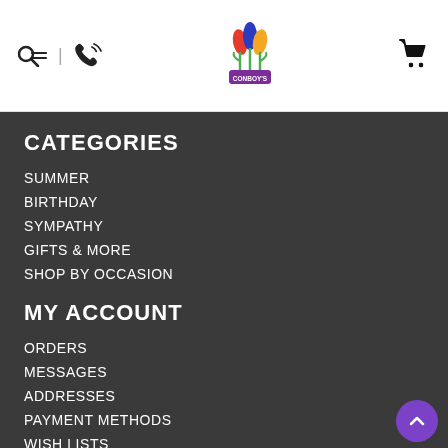Conboy's Flowers website header with search, phone, logo, and cart icons
CATEGORIES
SUMMER
BIRTHDAY
SYMPATHY
GIFTS & MORE
SHOP BY OCCASION
MY ACCOUNT
ORDERS
MESSAGES
ADDRESSES
PAYMENT METHODS
WISH LISTS
RECENTLY VIEWED